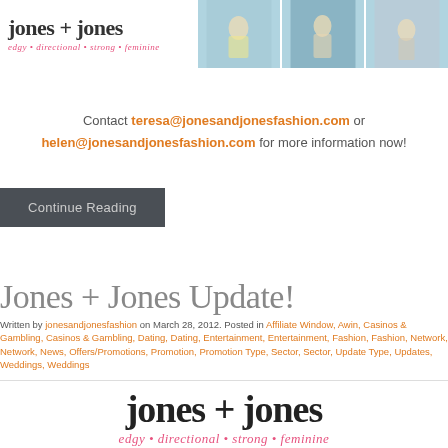[Figure (logo): Jones + Jones logo with tagline 'edgy • directional • strong • feminine' in pink italic script, plus three fashion photo thumbnails]
Contact teresa@jonesandjonesfashion.com or helen@jonesandjonesfashion.com for more information now!
Continue Reading
Jones + Jones Update!
Written by jonesandjonesfashion on March 28, 2012. Posted in Affiliate Window, Awin, Casinos & Gambling, Casinos & Gambling, Dating, Dating, Entertainment, Entertainment, Fashion, Fashion, Network, Network, News, Offers/Promotions, Promotion, Promotion Type, Sector, Sector, Update Type, Updates, Weddings, Weddings
[Figure (logo): Jones + jones large footer logo with tagline 'edgy • directional • strong • feminine' in pink italic script]